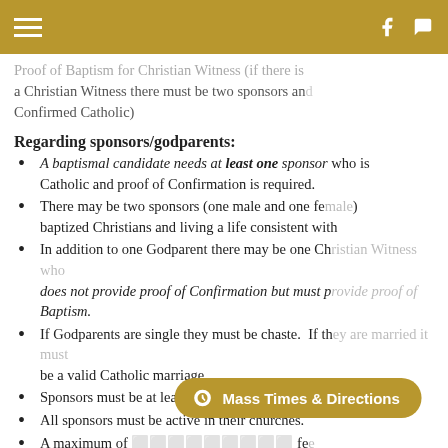Proof of Baptism for Christian Witness (if there is a Christian Witness there must be two sponsors and the Witness must be a Confirmed Catholic)
Regarding sponsors/godparents:
A baptismal candidate needs at least one sponsor who is Catholic and proof of Confirmation is required.
There may be two sponsors (one male and one female) who are baptized Christians and living a life consistent with their faith.
In addition to one Godparent there may be one Christian Witness who does not provide proof of Confirmation but must provide proof of Baptism.
If Godparents are single they must be chaste. If they are married it must be a valid Catholic marriage.
Sponsors must be at least 16 years old.
All sponsors must be active in their churches.
A maximum of fee the parish baptism records and the baptism certificate